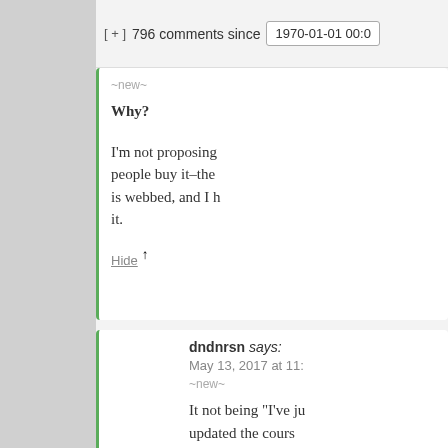[ + ]  796 comments since   1970-01-01 00:0
~new~
Why?
I'm not proposing people buy it–the is webbed, and I it.
Hide 1
[Figure (illustration): User avatar - purple/pink mosaic pattern identicon for dndnrsn]
dndnrsn says:
May 13, 2017 at 11:
~new~
It not being "I've j updated the cours wrote so the page numbers in the sy are different from